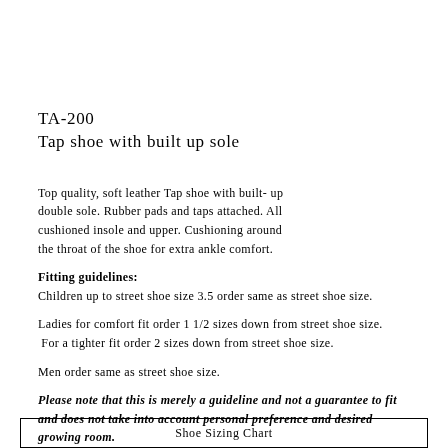TA-200
Tap shoe with built up sole
Top quality, soft leather Tap shoe with built-up double sole. Rubber pads and taps attached. All cushioned insole and upper. Cushioning around the throat of the shoe for extra ankle comfort.
Fitting guidelines:
Children up to street shoe size 3.5 order same as street shoe size.
Ladies for comfort fit order 1 1/2 sizes down from street shoe size. For a tighter fit order 2 sizes down from street shoe size.
Men order same as street shoe size.
Please note that this is merely a guideline and not a guarantee to fit and does not take into account personal preference and desired growing room.
Shoe Sizing Chart